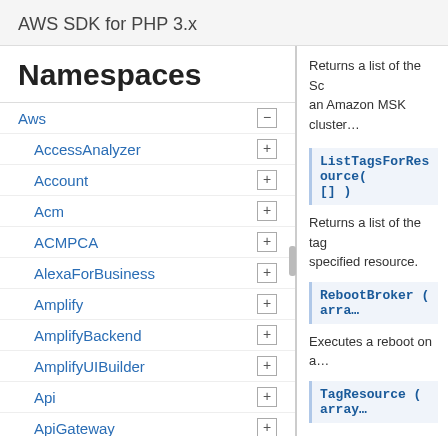AWS SDK for PHP 3.x
Namespaces
Aws
AccessAnalyzer
Account
Acm
ACMPCA
AlexaForBusiness
Amplify
AmplifyBackend
AmplifyUIBuilder
Api
ApiGateway
ApiGatewayManagementApi
Returns a list of the Sc... an Amazon MSK clust...
ListTagsForResource( [] )
Returns a list of the tags for the specified resource.
RebootBroker ( arra...
Executes a reboot on a...
TagResource ( array...
Adds tags to the speci...
UntagResource ( arr...
Removes the tags associated with the specified resource that are provided in the query.
UpdateBrokerCount ( )